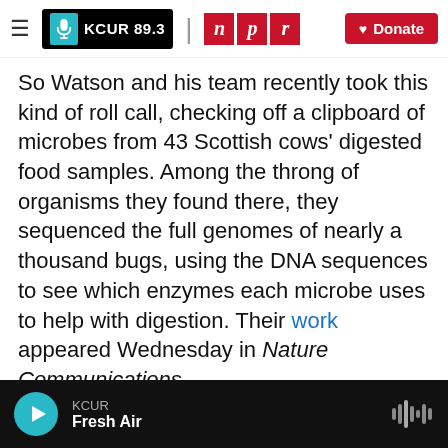KCUR 89.3 | npr | Donate
So Watson and his team recently took this kind of roll call, checking off a clipboard of microbes from 43 Scottish cows' digested food samples. Among the throng of organisms they found there, they sequenced the full genomes of nearly a thousand bugs, using the DNA sequences to see which enzymes each microbe uses to help with digestion. Their work appeared Wednesday in Nature Communications.
Taking attendance turned up some of the usual microbial suspects. There were several strains of the archaea microbes that use hydrogen to make
KCUR | Fresh Air